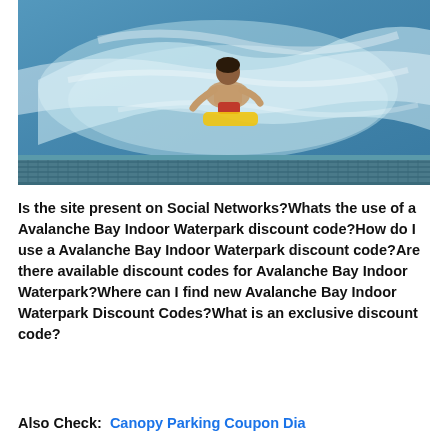[Figure (photo): A person on a bodyboard/wave board riding a wave at an indoor waterpark (Avalanche Bay). The water is blue-white and the rider is shirtless holding a yellow board.]
Is the site present on Social Networks?Whats the use of a Avalanche Bay Indoor Waterpark discount code?How do I use a Avalanche Bay Indoor Waterpark discount code?Are there available discount codes for Avalanche Bay Indoor Waterpark?Where can I find new Avalanche Bay Indoor Waterpark Discount Codes?What is an exclusive discount code?
Also Check:  Canopy Parking Coupon Dia